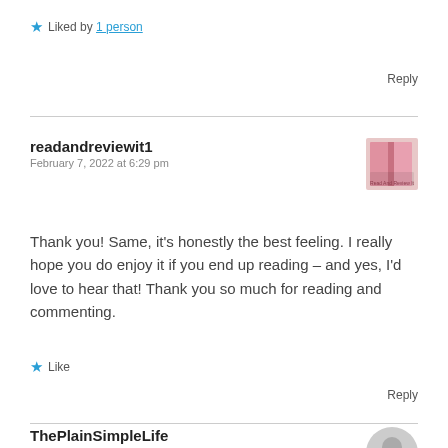★ Liked by 1 person
Reply
readandreviewit1
February 7, 2022 at 6:29 pm
[Figure (illustration): Small book blog avatar image with pink cover]
Thank you! Same, it's honestly the best feeling. I really hope you do enjoy it if you end up reading – and yes, I'd love to hear that! Thank you so much for reading and commenting.
★ Like
Reply
ThePlainSimpleLife